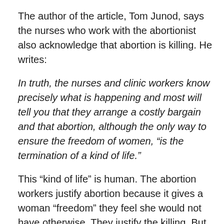The author of the article, Tom Junod, says the nurses who work with the abortionist also acknowledge that abortion is killing. He writes:
In truth, the nurses and clinic workers know precisely what is happening and most will tell you that they arrange a costly bargain and that abortion, although the only way to ensure the freedom of women, “is the termination of a kind of life.”
This “kind of life” is human. The abortion workers justify abortion because it gives a woman “freedom” they feel she would not have otherwise. They justify the killing. But they do not deny that the killing takes place.
One of the abortion workers in the facility expresses mixed feelings about the work she does. The author of the article